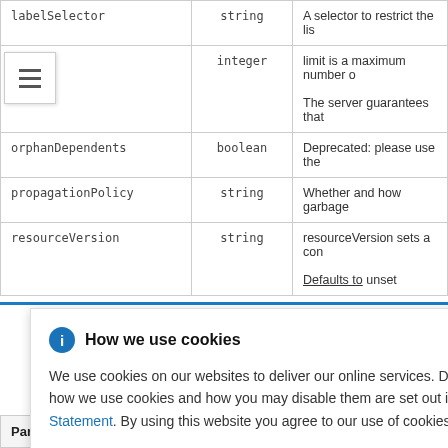| Parameter | Type | Description |
| --- | --- | --- |
| labelSelector | string | A selector to restrict the lis |
| limit | integer | limit is a maximum number o
The server guarantees that |
| orphanDependents | boolean | Deprecated: please use the |
| propagationPolicy | string | Whether and how garbage |
| resourceVersion | string | resourceVersion sets a con
Defaults to unset |
[Figure (screenshot): Cookie consent banner overlay with title 'How we use cookies', info icon, close button, and body text about cookie usage with Privacy Statement link.]
| Parameter | Type | Description |
| --- | --- | --- |